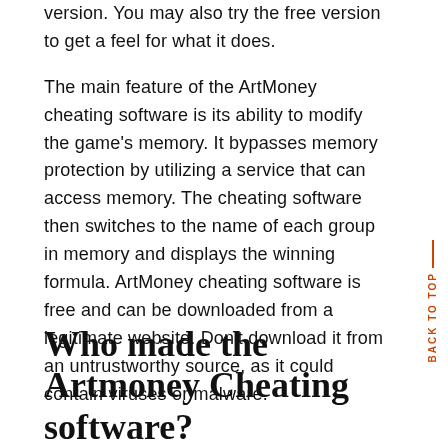version. You may also try the free version to get a feel for what it does.
The main feature of the ArtMoney cheating software is its ability to modify the game's memory. It bypasses memory protection by utilizing a service that can access memory. The cheating software then switches to the name of each group in memory and displays the winning formula. ArtMoney cheating software is free and can be downloaded from a legitimate website. Don't download it from an untrustworthy source, as it could contain viruses or malware.
Who made the Artmoney Cheating software?